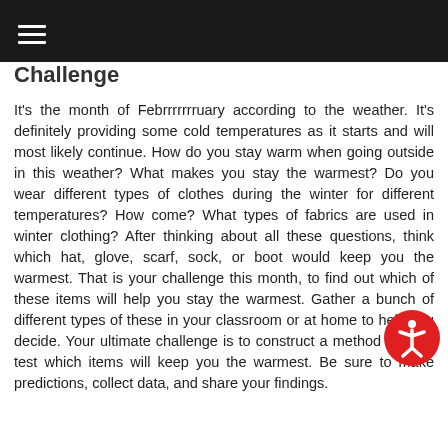Challenge
It's the month of Febrrrrrrruary according to the weather. It's definitely providing some cold temperatures as it starts and will most likely continue. How do you stay warm when going outside in this weather? What makes you stay the warmest? Do you wear different types of clothes during the winter for different temperatures? How come? What types of fabrics are used in winter clothing? After thinking about all these questions, think which hat, glove, scarf, sock, or boot would keep you the warmest. That is your challenge this month, to find out which of these items will help you stay the warmest. Gather a bunch of different types of these in your classroom or at home to help you decide. Your ultimate challenge is to construct a method to fairly test which items will keep you the warmest. Be sure to make predictions, collect data, and share your findings.